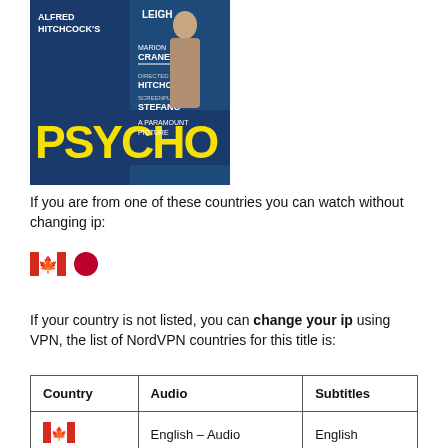[Figure (photo): Movie poster for Alfred Hitchcock's Psycho showing yellow text on blue background with actor image]
If you are from one of these countries you can watch without changing ip:
[Figure (illustration): Canadian flag emoji and Japanese flag red dot emoji indicating available countries]
If your country is not listed, you can change your ip using VPN, the list of NordVPN countries for this title is:
| Country | Audio | Subtitles |
| --- | --- | --- |
| [Canadian flag] | English – Audio | English |